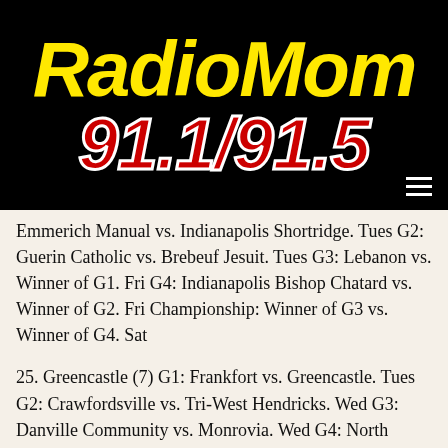[Figure (logo): RadioMom 91.1/91.5 radio station logo. Yellow italic bold text 'RadioMom' above red bold italic '91.1/91.5' on black background.]
Emmerich Manual vs. Indianapolis Shortridge. Tues G2: Guerin Catholic vs. Brebeuf Jesuit. Tues G3: Lebanon vs. Winner of G1. Fri G4: Indianapolis Bishop Chatard vs. Winner of G2. Fri Championship: Winner of G3 vs. Winner of G4. Sat
25. Greencastle (7) G1: Frankfort vs. Greencastle. Tues G2: Crawfordsville vs. Tri-West Hendricks. Wed G3: Danville Community vs. Monrovia. Wed G4: North Montgomery vs. Winner of G1. Fri G5: Winner of G2 vs. Winner of G3. Fri Championship: Winner of G4 vs.